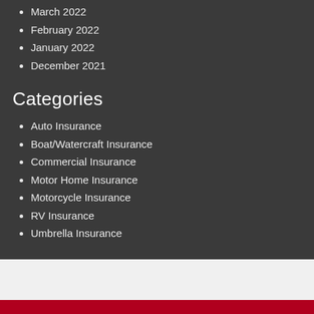March 2022
February 2022
January 2022
December 2021
Categories
Auto Insurance
Boat/Watercraft Insurance
Commercial Insurance
Motor Home Insurance
Motorcycle Insurance
RV Insurance
Umbrella Insurance